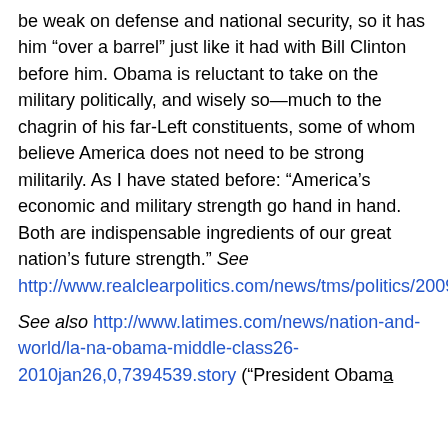be weak on defense and national security, so it has him “over a barrel” just like it had with Bill Clinton before him. Obama is reluctant to take on the military politically, and wisely so—much to the chagrin of his far-Left constituents, some of whom believe America does not need to be strong militarily. As I have stated before: “America’s economic and military strength go hand in hand. Both are indispensable ingredients of our great nation’s future strength.” See http://www.realclearpolitics.com/news/tms/politics/2009/Apr/08/euphoria_or_the_obama_depression_.html
See also http://www.latimes.com/news/nation-and-world/la-na-obama-middle-class26-2010jan26,0,7394539.story ("President Obam...